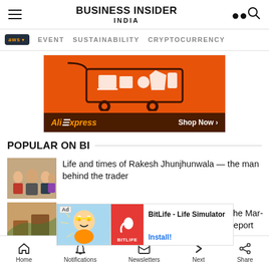BUSINESS INSIDER INDIA
EVENT   SUSTAINABILITY   CRYPTOCURRENCY
[Figure (illustration): AliExpress advertisement banner with shopping cart illustration on orange background and 'Shop Now >' button on dark brown background]
POPULAR ON BI
[Figure (photo): Thumbnail photo of a family group including an older man]
Life and times of Rakesh Jhunjhunwala — the man behind the trader
[Figure (illustration): BitLife - Life Simulator ad with cartoon character and app icon. Install button shown.]
the Mar- report
Home   Notifications   Newsletters   Next   Share